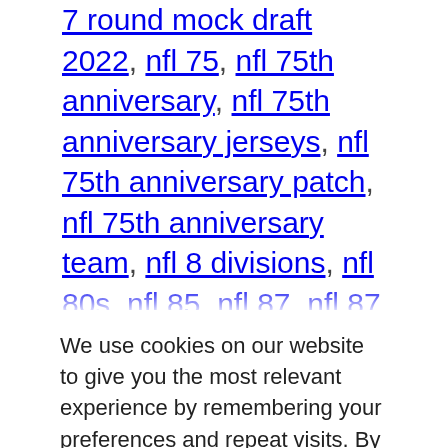7 round mock draft 2022, nfl 75, nfl 75th anniversary, nfl 75th anniversary jerseys, nfl 75th anniversary patch, nfl 75th anniversary team, nfl 8 divisions, nfl 80s, nfl 85, nfl 87, nfl 87 jersey, nfl 88, nfl 88 plan, nfl 8k camera, nfl 8x10 photos, nfl 9/11, nfl 90s, nfl 90s all decade team, nfl 94 sega genesis, nfl 95 sega, nfl 98, nfl 99, nfl 99 club, nfl 990...
We use cookies on our website to give you the most relevant experience by remembering your preferences and repeat visits. By clicking “Accept All”, you consent to the use of ALL the cookies. However, you may visit "Cookie Settings" to provide a controlled consent.